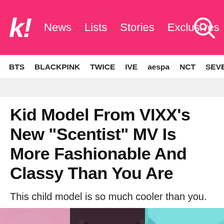k! News Lists Stories Exclusives
BTS BLACKPINK TWICE IVE aespa NCT SEVE
Kid Model From VIXX’s New “Scentist” MV Is More Fashionable And Classy Than You Are
This child model is so much cooler than you.
[Figure (photo): Three people with colorful hair (pink, dark, teal) from VIXX Scentist MV, shown from approximately chin level up]